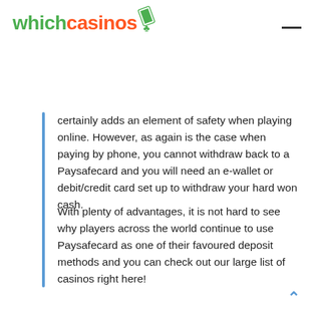whichcasinos
certainly adds an element of safety when playing online. However, as again is the case when paying by phone, you cannot withdraw back to a Paysafecard and you will need an e-wallet or debit/credit card set up to withdraw your hard won cash.
With plenty of advantages, it is not hard to see why players across the world continue to use Paysafecard as one of their favoured deposit methods and you can check out our large list of casinos right here!